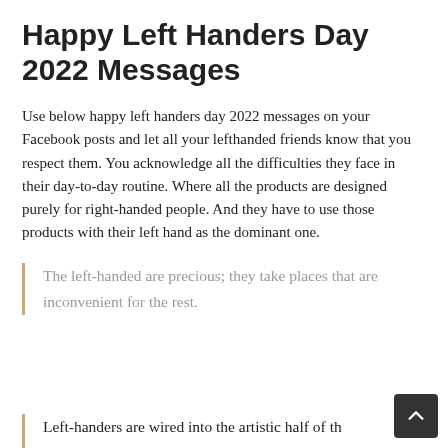Happy Left Handers Day 2022 Messages
Use below happy left handers day 2022 messages on your Facebook posts and let all your lefthanded friends know that you respect them. You acknowledge all the difficulties they face in their day-to-day routine. Where all the products are designed purely for right-handed people. And they have to use those products with their left hand as the dominant one.
The left-handed are precious; they take places that are inconvenient for the rest.
Left-handers are wired into the artistic half of th